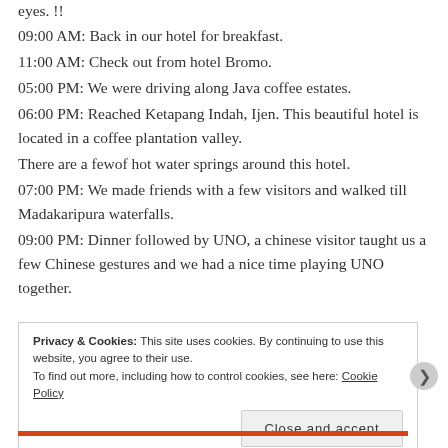eyes. !!
09:00 AM: Back in our hotel for breakfast.
11:00 AM: Check out from hotel Bromo.
05:00 PM: We were driving along Java coffee estates.
06:00 PM: Reached Ketapang Indah, Ijen. This beautiful hotel is located in a coffee plantation valley.
There are a fewof hot water springs around this hotel.
07:00 PM: We made friends with a few visitors and walked till Madakaripura waterfalls.
09:00 PM: Dinner followed by UNO, a chinese visitor taught us a few Chinese gestures and we had a nice time playing UNO together.
Privacy & Cookies: This site uses cookies. By continuing to use this website, you agree to their use.
To find out more, including how to control cookies, see here: Cookie Policy
Close and accept